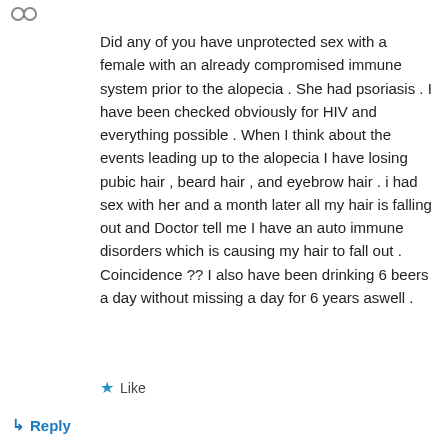[Figure (illustration): Small avatar/user icon with two circular shapes, representing a user profile in a comment thread]
Did any of you have unprotected sex with a female with an already compromised immune system prior to the alopecia . She had psoriasis . I have been checked obviously for HIV and everything possible . When I think about the events leading up to the alopecia I have losing pubic hair , beard hair , and eyebrow hair . i had sex with her and a month later all my hair is falling out and Doctor tell me I have an auto immune disorders which is causing my hair to fall out . Coincidence ?? I also have been drinking 6 beers a day without missing a day for 6 years aswell .
Like
Reply